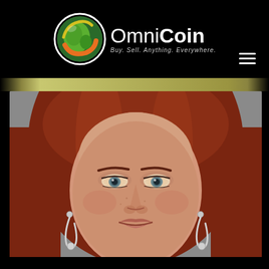[Figure (logo): OmniCoin logo with globe icon and tagline 'Buy. Sell. Anything. Everywhere.']
[Figure (photo): Close-up portrait photograph of a woman with red/auburn hair and silver drop earrings, neutral expression, pale complexion]